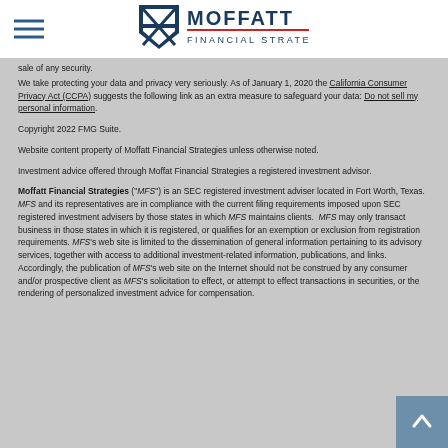MOFFATT FINANCIAL STRATEGIES
sale of any security.
We take protecting your data and privacy very seriously. As of January 1, 2020 the California Consumer Privacy Act (CCPA) suggests the following link as an extra measure to safeguard your data: Do not sell my personal information.
Copyright 2022 FMG Suite.
Website content property of Moffatt Financial Strategies unless otherwise noted.
Investment advice offered through Moffat Financial Strategies a registered investment advisor.
Moffatt Financial Strategies ("MFS") is an SEC registered investment adviser located in Fort Worth, Texas. MFS and its representatives are in compliance with the current filing requirements imposed upon SEC registered investment advisers by those states in which MFS maintains clients. MFS may only transact business in those states in which it is registered, or qualifies for an exemption or exclusion from registration requirements. MFS's web site is limited to the dissemination of general information pertaining to its advisory services, together with access to additional investment-related information, publications, and links. Accordingly, the publication of MFS's web site on the Internet should not be construed by any consumer and/or prospective client as MFS's solicitation to effect, or attempt to effect transactions in securities, or the rendering of personalized investment advice for compensation.